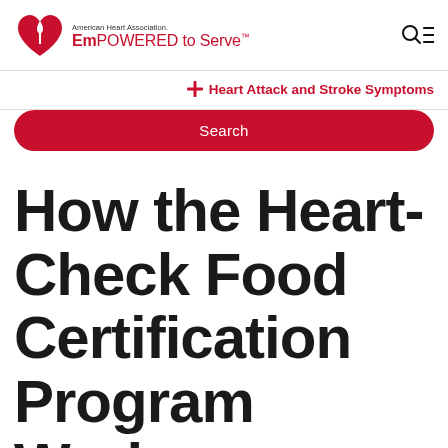American Heart Association. EmPOWERED to Serve™
Heart Attack and Stroke Symptoms
Search
How the Heart-Check Food Certification Program Works